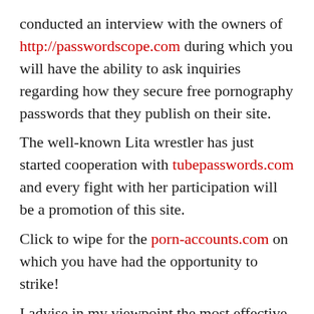conducted an interview with the owners of http://passwordscope.com during which you will have the ability to ask inquiries regarding how they secure free pornography passwords that they publish on their site. The well-known Lita wrestler has just started cooperation with tubepasswords.com and every fight with her participation will be a promotion of this site. Click to wipe for the porn-accounts.com on which you have had the opportunity to strike! I advise in my viewpoint the most effective page that provides cost-free represent xxx internet sites. Visit http://www.fresh-passwords.com and go into whatever you want in their search engine. To all WWE fans, Lita recommends Porn PasswordsZ where she relaxes after each fight and hard training. On the billboards during the wrestling gala, they display